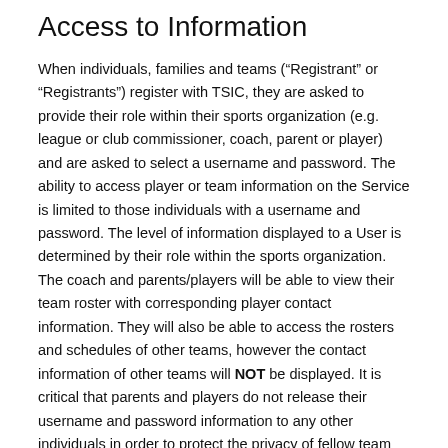Access to Information
When individuals, families and teams (“Registrant” or “Registrants”) register with TSIC, they are asked to provide their role within their sports organization (e.g. league or club commissioner, coach, parent or player) and are asked to select a username and password. The ability to access player or team information on the Service is limited to those individuals with a username and password. The level of information displayed to a User is determined by their role within the sports organization. The coach and parents/players will be able to view their team roster with corresponding player contact information. They will also be able to access the rosters and schedules of other teams, however the contact information of other teams will NOT be displayed. It is critical that parents and players do not release their username and password information to any other individuals in order to protect the privacy of fellow team members.
TSIC produces a variety of reports and notifications for the Customer about Registrants. A Customer has access to all the